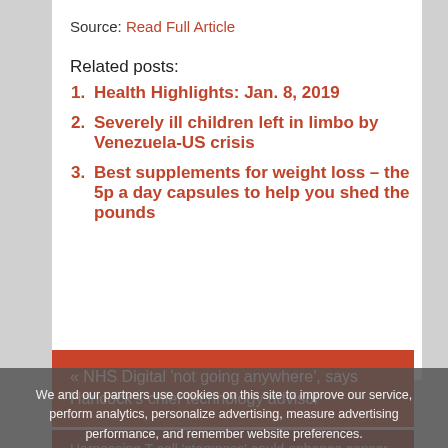Source: Read Full Article
Related posts:
Health Highlights: Jan. 8, 2019
Severely ill children left in limbo by Venezuela-US crisis
Best supplements for weight loss – the 5p a day capsules to help you shed the pounds
« NHS Digital 'not going anywhere', says Hancock's chief technology advisor
Harnessing T-cell 'stemness' could enhance cancer immunotherapy »
We and our partners use cookies on this site to improve our service, perform analytics, personalize advertising, measure advertising performance, and remember website preferences.